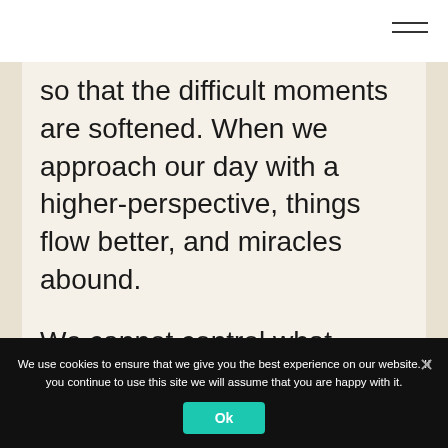[Figure (other): Hamburger menu icon (three horizontal lines) in top right corner]
so that the difficult moments are softened. When we approach our day with a higher-perspective, things flow better, and miracles abound.
We cannot control what happens to us, but we can take some time to create a little (joyful) space. ♥
We use cookies to ensure that we give you the best experience on our website. If you continue to use this site we will assume that you are happy with it.
Ok